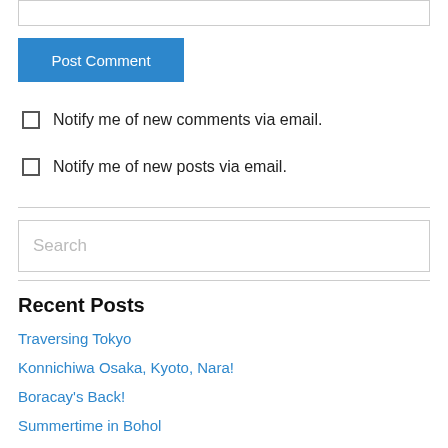[input box at top]
Post Comment
Notify me of new comments via email.
Notify me of new posts via email.
Search
Recent Posts
Traversing Tokyo
Konnichiwa Osaka, Kyoto, Nara!
Boracay's Back!
Summertime in Bohol